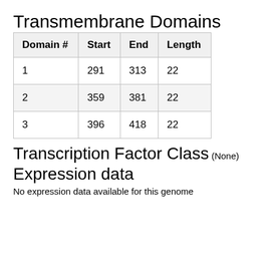Transmembrane Domains
| Domain # | Start | End | Length |
| --- | --- | --- | --- |
| 1 | 291 | 313 | 22 |
| 2 | 359 | 381 | 22 |
| 3 | 396 | 418 | 22 |
Transcription Factor Class
(None)
Expression data
No expression data available for this genome